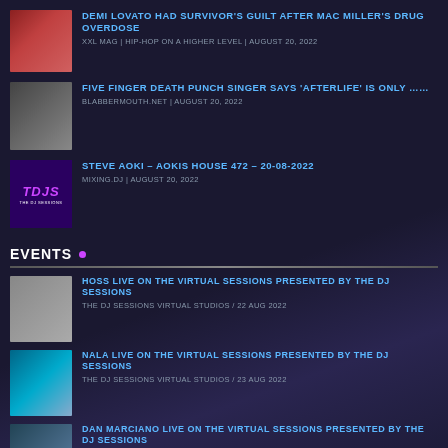DEMI LOVATO HAD SURVIVOR'S GUILT AFTER MAC MILLER'S DRUG OVERDOSE | XXL MAG | HIP-HOP ON A HIGHER LEVEL | AUGUST 20, 2022
FIVE FINGER DEATH PUNCH SINGER SAYS 'AFTERLIFE' IS ONLY ...... | BLABBERMOUTH.NET | AUGUST 20, 2022
STEVE AOKI – AOKIS HOUSE 472 – 20-08-2022 | MIXING.DJ | AUGUST 20, 2022
EVENTS
HOSS LIVE ON THE VIRTUAL SESSIONS PRESENTED BY THE DJ SESSIONS | THE DJ SESSIONS VIRTUAL STUDIOS / 22 AUG 2022
NALA LIVE ON THE VIRTUAL SESSIONS PRESENTED BY THE DJ SESSIONS | THE DJ SESSIONS VIRTUAL STUDIOS / 23 AUG 2022
DAN MARCIANO LIVE ON THE VIRTUAL SESSIONS PRESENTED BY THE DJ SESSIONS